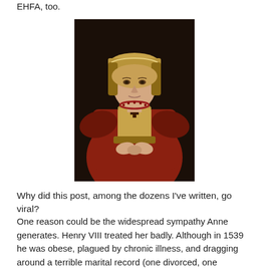EHFA, too.
[Figure (photo): Portrait painting of Anne of Cleves, a woman wearing an elaborate jeweled headdress and red dress with pearl and cross necklaces, hands folded in front, dark background.]
Why did this post, among the dozens I've written, go viral?
One reason could be the widespread sympathy Anne generates. Henry VIII treated her badly. Although in 1539 he was obese, plagued by chronic illness, and dragging around a terrible marital record (one divorced, one beheaded, and